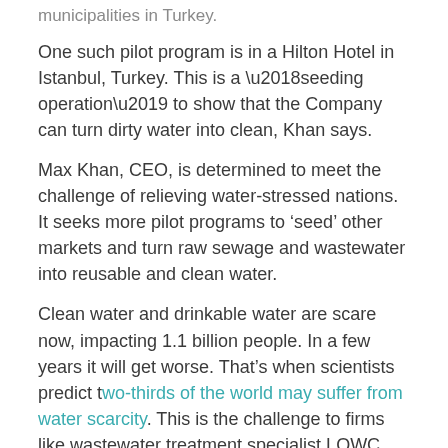municipalities in Turkey.
One such pilot program is in a Hilton Hotel in Istanbul, Turkey. This is a ‘seeding operation’ to show that the Company can turn dirty water into clean, Khan says.
Max Khan, CEO, is determined to meet the challenge of relieving water-stressed nations. It seeks more pilot programs to ‘seed’ other markets and turn raw sewage and wastewater into reusable and clean water.
Clean water and drinkable water are scare now, impacting 1.1 billion people. In a few years it will get worse. That’s when scientists predict two-thirds of the world may suffer from water scarcity. This is the challenge to firms like wastewater treatment specialist LQWC.
Countries including Somalia, Egypt, Syria, Pakistan, Ethiopia, India, Haiti and the Philippines suffer from dirty or not enough clean drinking water.
Some investors call clean water or drinking water ‘liquid gold.’